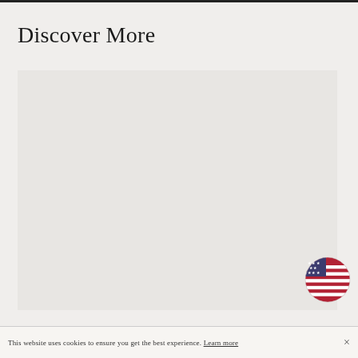Discover More
[Figure (photo): Large light gray placeholder image area]
[Figure (illustration): Circular US flag icon (American flag in circle shape) positioned at bottom right of image area]
This website uses cookies to ensure you get the best experience. Learn more ×